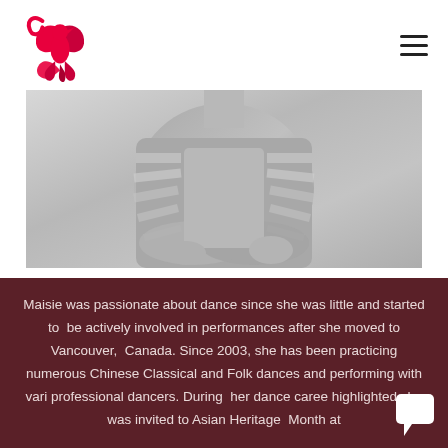[Logo: Phoenix/bird logo in red/pink] [Hamburger menu icon]
[Figure (photo): Black and white cropped photo of a person with arms crossed, wearing a striped long-sleeve top]
Maisie was passionate about dance since she was little and started to  be actively involved in performances after she moved to Vancouver,  Canada. Since 2003, she has been practicing numerous Chinese Classical and Folk dances and performing with vari professional dancers. During  her dance caree highlighted she was invited to Asian Heritage  Month at